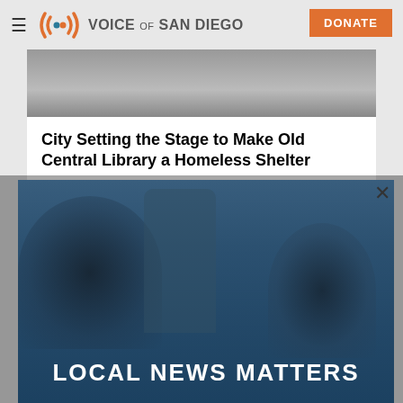Voice of San Diego | DONATE
[Figure (photo): Grayscale photo partially visible at top of article]
City Setting the Stage to Make Old Central Library a Homeless Shelter
[Figure (photo): Modal popup with blue-tinted photo of people outdoors near a tree. Text overlay reads LOCAL NEWS MATTERS. X close button in top right.]